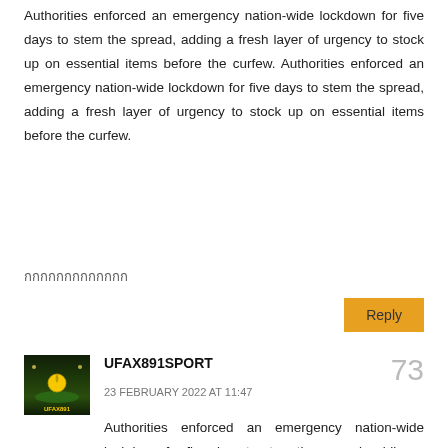Authorities enforced an emergency nation-wide lockdown for five days to stem the spread, adding a fresh layer of urgency to stock up on essential items before the curfew. Authorities enforced an emergency nation-wide lockdown for five days to stem the spread, adding a fresh layer of urgency to stock up on essential items before the curfew.
กกกกกกกกกกกกก
Reply
[Figure (photo): Avatar image showing a soccer/football stadium at night with green field and yellow ball accent text]
UFAX891SPORT
73
23 FEBRUARY 2022 AT 11:47
Authorities enforced an emergency nation-wide lockdown for five days to stem the spread, adding a fresh layer of urgency to stock up on essential items before the curfew. Authorities enforced an emergency nation-wide lockdown for five days to stem the spread, adding a fresh layer of urgency